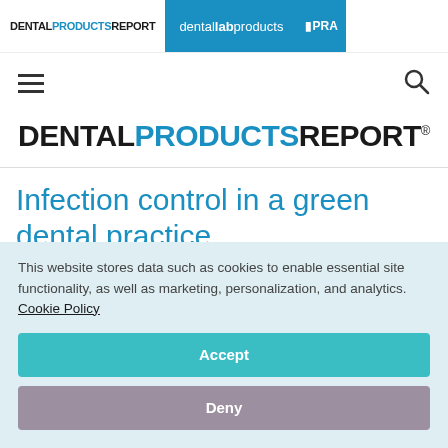DENTAL PRODUCTS REPORT | dental lab products | PRA
[Figure (logo): Dental Products Report logo navigation bar with hamburger menu and search icon]
DENTAL PRODUCTS REPORT
Infection control in a green dental practice
This website stores data such as cookies to enable essential site functionality, as well as marketing, personalization, and analytics. Cookie Policy
Accept
Deny